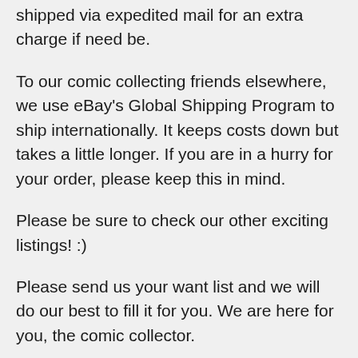shipped via expedited mail for an extra charge if need be.
To our comic collecting friends elsewhere, we use eBay's Global Shipping Program to ship internationally. It keeps costs down but takes a little longer. If you are in a hurry for your order, please keep this in mind.
Please be sure to check our other exciting listings! :)
Please send us your want list and we will do our best to fill it for you. We are here for you, the comic collector.
Satisfaction Guaranteed...